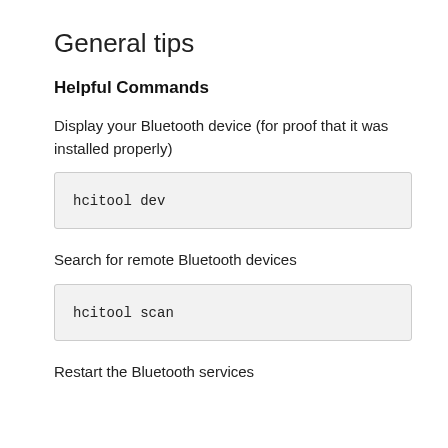General tips
Helpful Commands
Display your Bluetooth device (for proof that it was installed properly)
hcitool dev
Search for remote Bluetooth devices
hcitool scan
Restart the Bluetooth services